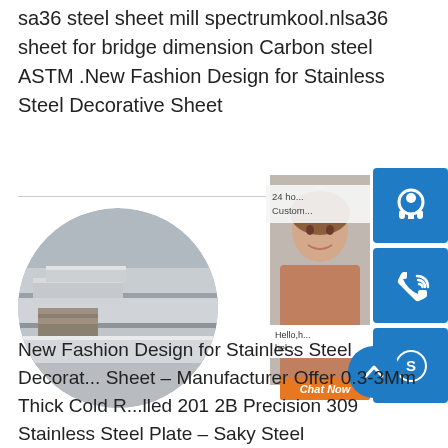sa36 steel sheet mill spectrumkool.nlsa36 sheet for bridge dimension Carbon steel ASTM .New Fashion Design for Stainless Steel Decorative Sheet
[Figure (photo): Circular cropped photo of stacked stainless steel sheets/plates in a warehouse or industrial setting]
[Figure (screenshot): Customer service chat widget sidebar with headset icon button, phone/call icon button, Skype icon button, 24hr customer service label, person photo, hello/help text, and orange Chat Now button]
New Fashion Design for Stainless Steel Decorative Sheet – Manufacturer Offer 0.3-3Mm Thick Cold Rolled 201 2B Precision 309 Stainless Steel Plate – Saky Steel